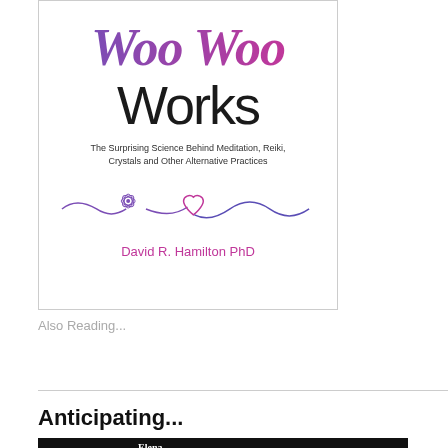[Figure (illustration): Book cover for 'Woo Woo Works: The Surprising Science Behind Meditation, Reiki, Crystals and Other Alternative Practices' by David R. Hamilton PhD. Title in gradient purple-to-pink script for 'Woo Woo', black sans-serif 'Works', subtitle in small text, decorative wave and heart line illustration, author name in pink.]
Also Reading...
Anticipating...
[Figure (photo): Bottom portion of a book cover with a black background and large white serif text showing 'Elena' (partial, cropped).]